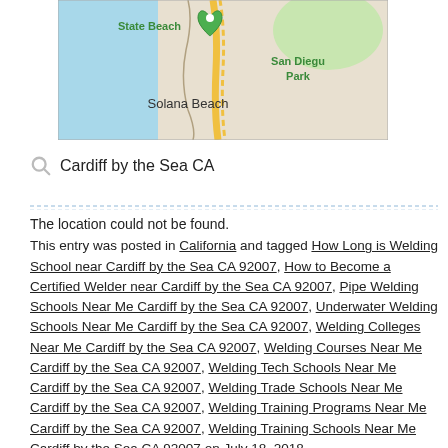[Figure (map): Google Maps screenshot showing Solana Beach area with State Beach label, San Diego Park label, and coastline visible]
Cardiff by the Sea CA
The location could not be found.
This entry was posted in California and tagged How Long is Welding School near Cardiff by the Sea CA 92007, How to Become a Certified Welder near Cardiff by the Sea CA 92007, Pipe Welding Schools Near Me Cardiff by the Sea CA 92007, Underwater Welding Schools Near Me Cardiff by the Sea CA 92007, Welding Colleges Near Me Cardiff by the Sea CA 92007, Welding Courses Near Me Cardiff by the Sea CA 92007, Welding Tech Schools Near Me Cardiff by the Sea CA 92007, Welding Trade Schools Near Me Cardiff by the Sea CA 92007, Welding Training Programs Near Me Cardiff by the Sea CA 92007, Welding Training Schools Near Me Cardiff by the Sea CA 92007 on July 18, 2018